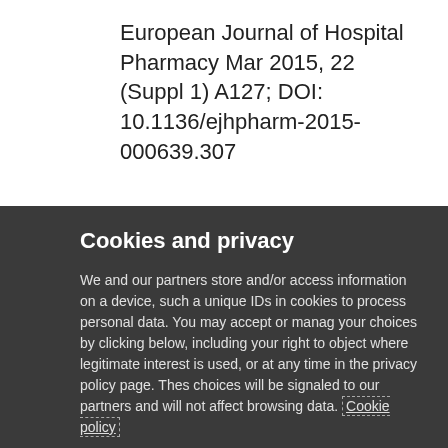European Journal of Hospital Pharmacy Mar 2015, 22 (Suppl 1) A127; DOI: 10.1136/ejhpharm-2015-000639.307
Cookies and privacy
We and our partners store and/or access information on a device, such as unique IDs in cookies to process personal data. You may accept or manage your choices by clicking below, including your right to object where legitimate interest is used, or at any time in the privacy policy page. These choices will be signaled to our partners and will not affect browsing data. Cookie policy
We and our partners process data to provide:
Store and/or access information on a device, Personalised ads and content, ad and content measurement, audience insights and product development, Use precise geolocation data, Actively scan device characteristics for identification
List of Partners (vendors)